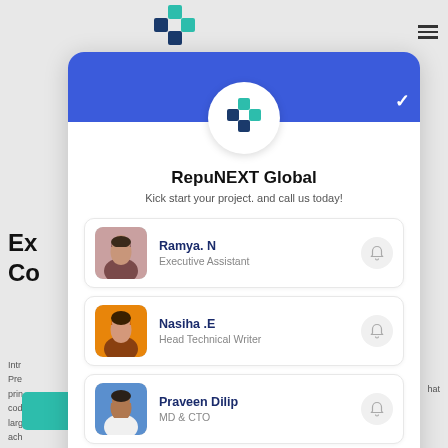[Figure (screenshot): Screenshot of a website background with partial text 'Ex Co' heading and teal 'READ MORE' button visible, with a hamburger menu icon top right.]
[Figure (screenshot): Chat widget popup card for RepuNEXT Global showing company logo, tagline 'Kick start your project. and call us today!' and four contact persons: Ramya.N (Executive Assistant), Nasiha.E (Head Technical Writer), Praveen Dilip (MD & CTO), Andrew Stevens (Sales Director).]
RepuNEXT Global
Kick start your project. and call us today!
Ramya. N — Executive Assistant
Nasiha .E — Head Technical Writer
Praveen Dilip — MD & CTO
Andrew Stevens — Sales Director